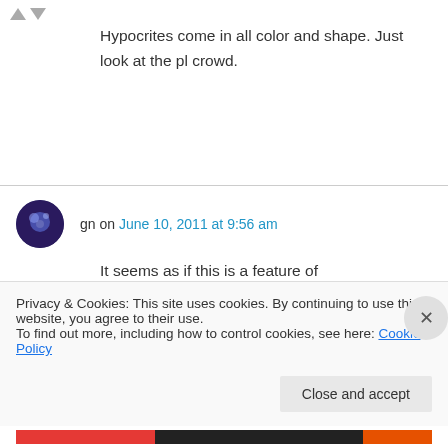Hypocrites come in all color and shape. Just look at the pl crowd.
gn on June 10, 2011 at 9:56 am
It seems as if this is a feature of fundamentalism, this strident advocacy against activities in which one engages oneself. Newt with his fifty million wives while railing against President Clinton's infidelity, all of the GOP politicians who...
Privacy & Cookies: This site uses cookies. By continuing to use this website, you agree to their use.
To find out more, including how to control cookies, see here: Cookie Policy